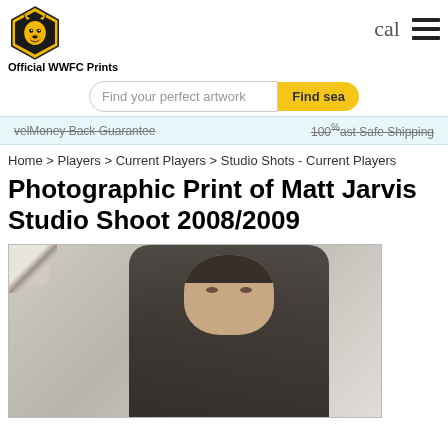[Figure (logo): Wolverhampton Wanderers FC crest logo - black wolf head on gold/black hexagon shield]
Official WWFC Prints
cal
Find your perfect artwork
Find sea
velMoney Back Guarantee
100% ast Safe Shipping
Home > Players > Current Players > Studio Shots - Current Players
Photographic Print of Matt Jarvis Studio Shoot 2008/2009
[Figure (photo): Studio photo of Matt Jarvis, a young man with short dark spiked hair wearing a black t-shirt, standing against a white/grey background with a page-curl effect in the top-left corner of the image frame]